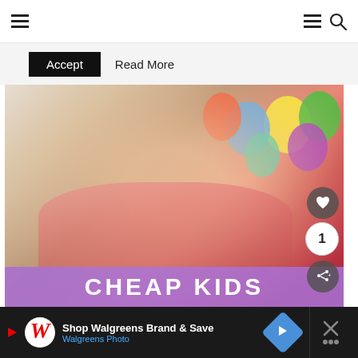≡  ≡ 🔍
Accept   Read More
[Figure (photo): Young girl yawning at a birthday party with colorful balloons in the background, wearing a pink jacket and red bead necklace. Text overlay at bottom reads CHEAP KIDS in white on purple banner. Heart, number 1, and share badges on right side.]
CHEAP KIDS
[Figure (screenshot): Walgreens advertisement banner: Play icon, Walgreens W logo, text 'Shop Walgreens Brand & Save', 'Walgreens Photo', blue diamond arrow button, and close X button on dark background.]